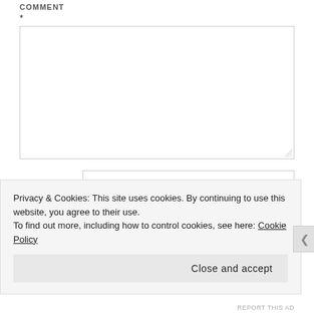COMMENT
*
[Figure (screenshot): Comment textarea input field, empty, with resize handle at bottom right]
Name
[Figure (screenshot): Name text input field, empty]
Email
[Figure (screenshot): Email text input field, partially visible]
Privacy & Cookies:  This site uses cookies.  By continuing to use this website, you agree to their use.
To find out more, including how to control cookies, see here: Cookie Policy
Close and accept
REPORT THIS AD